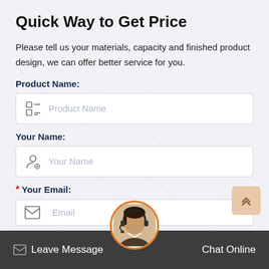Quick Way to Get Price
Please tell us your materials, capacity and finished product design, we can offer better service for you.
Product Name:
[Figure (screenshot): Input field with list/product icon and placeholder text 'Product Name']
Your Name:
[Figure (screenshot): Input field with person/add icon and placeholder text 'Your Name']
* Your Email:
[Figure (screenshot): Partial email input field with envelope icon and placeholder text 'Email']
[Figure (photo): Circular avatar of a customer service representative with headset, orange border]
Leave Message
Chat Online